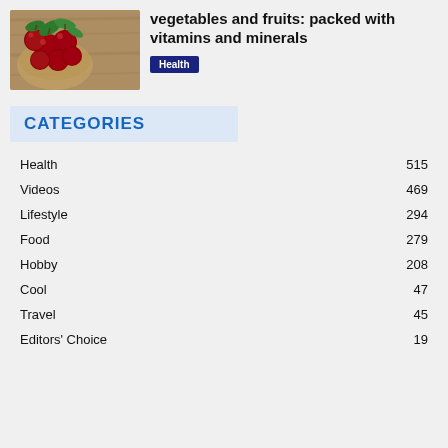[Figure (photo): Photo of cherries spilling from a basket on a wooden surface, with green leaves]
vegetables and fruits: packed with vitamins and minerals
Health
CATEGORIES
Health 515
Videos 469
Lifestyle 294
Food 279
Hobby 208
Cool 47
Travel 45
Editors' Choice 19